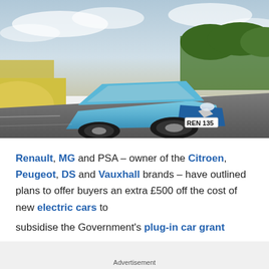[Figure (photo): A light blue Renault Zoe electric car with licence plate REN 135 driving on a road, photographed from a low front-angle perspective. Background shows blurred greenery and sky.]
Renault, MG and PSA – owner of the Citroen, Peugeot, DS and Vauxhall brands – have outlined plans to offer buyers an extra £500 off the cost of new electric cars to subsidise the Government's plug-in car grant
Advertisement